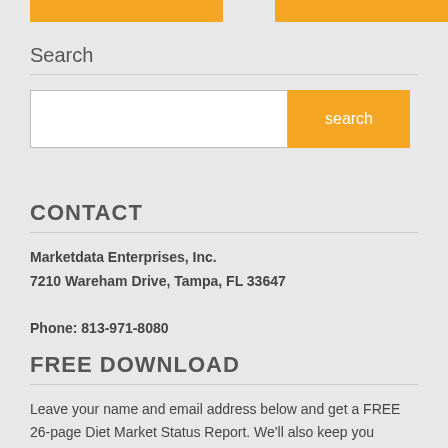[Figure (screenshot): Two orange navigation buttons at the top of the page]
Search
[Figure (screenshot): Search input box with orange search button]
CONTACT
Marketdata Enterprises, Inc.
7210 Wareham Drive, Tampa, FL 33647
Phone: 813-971-8080
FREE DOWNLOAD
Leave your name and email address below and get a FREE 26-page Diet Market Status Report. We'll also keep you informed of